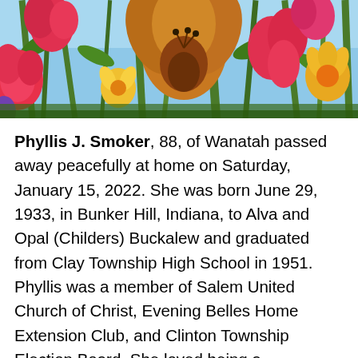[Figure (photo): Colorful garden flowers photographed from below against a blue sky. Visible flowers include red/pink blooms, a large orange/brown flower in center, yellow daisy-like flowers, and green stems.]
Phyllis J. Smoker, 88, of Wanatah passed away peacefully at home on Saturday, January 15, 2022. She was born June 29, 1933, in Bunker Hill, Indiana, to Alva and Opal (Childers) Buckalew and graduated from Clay Township High School in 1951. Phyllis was a member of Salem United Church of Christ, Evening Belles Home Extension Club, and Clinton Township Election Board. She loved being a homemaker, having raised the tasks of baking, cooking, and gardening to an art form. Her skills as an accomplished seamstress